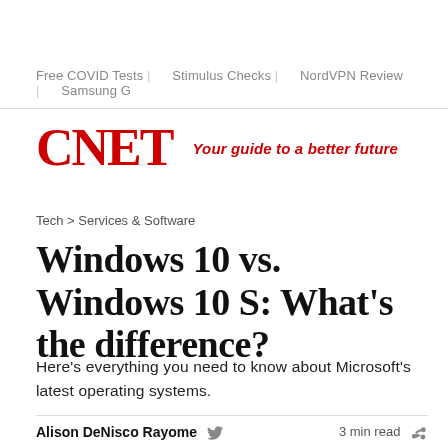Free COVID Tests  |  Stimulus Checks  |  NordVPN Review  |  Samsung G
[Figure (logo): CNET logo in red bold serif text with tagline 'Your guide to a better future' in red italic]
Tech > Services & Software
Windows 10 vs. Windows 10 S: What's the difference?
Here's everything you need to know about Microsoft's latest operating systems.
Alison DeNisco Rayome   3 min read